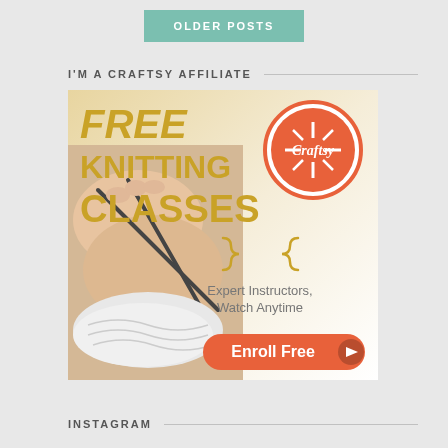OLDER POSTS
I'M A CRAFTSY AFFILIATE
[Figure (illustration): Craftsy advertisement banner for Free Knitting Classes featuring hands knitting with needles, Craftsy circular logo, gold text 'FREE KNITTING CLASSES', curly brace decoration, text 'Expert Instructors, Watch Anytime', and orange 'Enroll Free' button with play icon]
INSTAGRAM